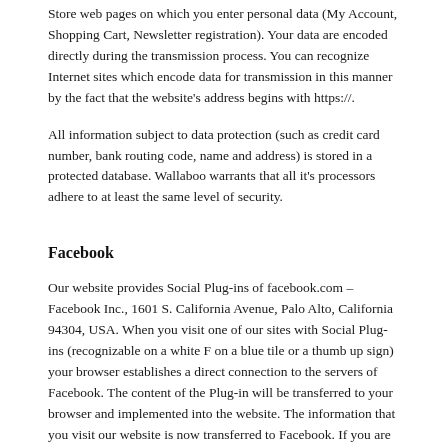Store web pages on which you enter personal data (My Account, Shopping Cart, Newsletter registration). Your data are encoded directly during the transmission process. You can recognize Internet sites which encode data for transmission in this manner by the fact that the website's address begins with https://.
All information subject to data protection (such as credit card number, bank routing code, name and address) is stored in a protected database. Wallaboo warrants that all it's processors adhere to at least the same level of security.
Facebook
Our website provides Social Plug-ins of facebook.com – Facebook Inc., 1601 S. California Avenue, Palo Alto, California 94304, USA. When you visit one of our sites with Social Plug-ins (recognizable on a white F on a blue tile or a thumb up sign) your browser establishes a direct connection to the servers of Facebook. The content of the Plug-in will be transferred to your browser and implemented into the website. The information that you visit our website is now transferred to Facebook. If you are logged on in Facebook during the visit on our website, Facebook adds this information to your Facebook profile. If you are interacting with one of the Social Plug-ins, e.g. make a comment, this information